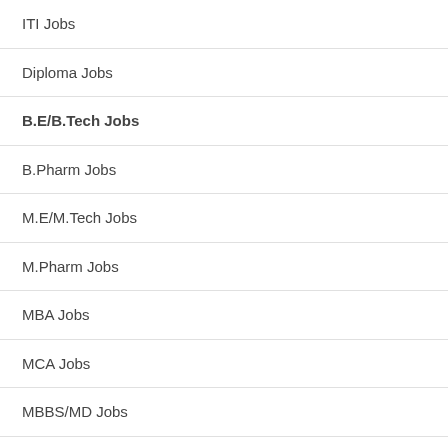ITI Jobs
Diploma Jobs
B.E/B.Tech Jobs
B.Pharm Jobs
M.E/M.Tech Jobs
M.Pharm Jobs
MBA Jobs
MCA Jobs
MBBS/MD Jobs
Ph.D Jobs
Disclaimer | Privacy Policy | Contact Us